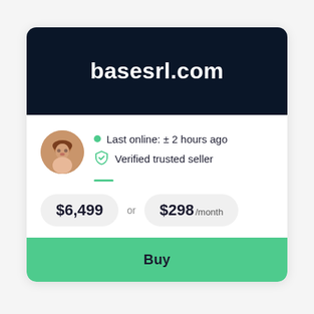basesrl.com
Last online: ± 2 hours ago
Verified trusted seller
$6,499 or $298 /month
Buy